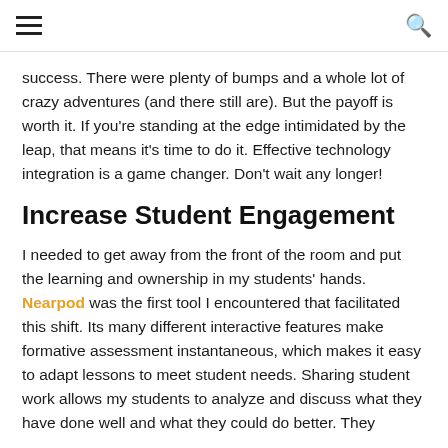≡  🔍
success. There were plenty of bumps and a whole lot of crazy adventures (and there still are). But the payoff is worth it. If you're standing at the edge intimidated by the leap, that means it's time to do it. Effective technology integration is a game changer. Don't wait any longer!
Increase Student Engagement
I needed to get away from the front of the room and put the learning and ownership in my students' hands. Nearpod was the first tool I encountered that facilitated this shift. Its many different interactive features make formative assessment instantaneous, which makes it easy to adapt lessons to meet student needs. Sharing student work allows my students to analyze and discuss what they have done well and what they could do better. They